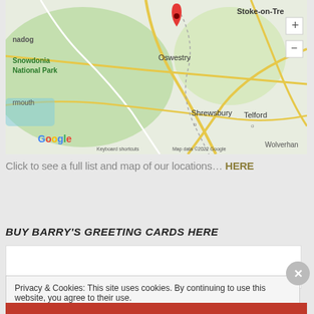[Figure (map): Google Maps screenshot showing Snowdonia National Park, Oswestry, Shrewsbury, Telford, Stoke-on-Trent, and Wolverhampton area in Wales/England with a red location pin near Oswestry]
Click to see a full list and map of our locations… HERE
BUY BARRY'S GREETING CARDS HERE
Privacy & Cookies: This site uses cookies. By continuing to use this website, you agree to their use.
To find out more, including how to control cookies, see here: Cookie Policy
Close and accept